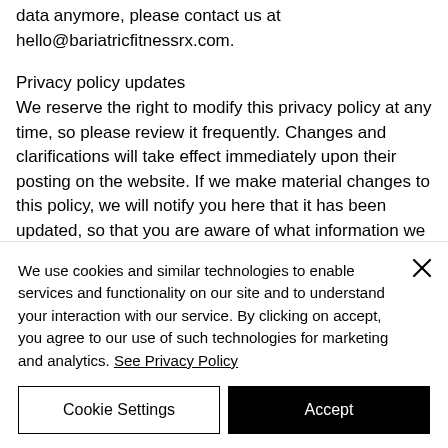data anymore, please contact us at hello@bariatricfitnessrx.com.
Privacy policy updates
We reserve the right to modify this privacy policy at any time, so please review it frequently. Changes and clarifications will take effect immediately upon their posting on the website. If we make material changes to this policy, we will notify you here that it has been updated, so that you are aware of what information we
We use cookies and similar technologies to enable services and functionality on our site and to understand your interaction with our service. By clicking on accept, you agree to our use of such technologies for marketing and analytics. See Privacy Policy
Cookie Settings
Accept